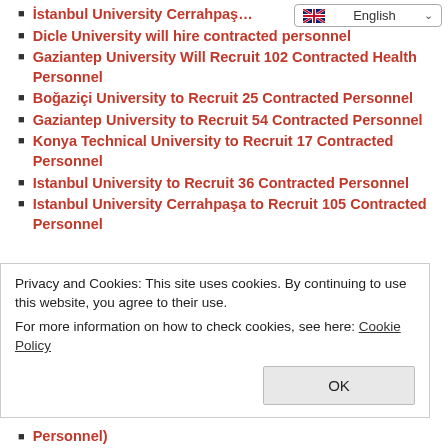İstanbul University Cerrahpaş…
Dicle University will hire contracted personnel
Gaziantep University Will Recruit 102 Contracted Health Personnel
Boğaziçi University to Recruit 25 Contracted Personnel
Gaziantep University to Recruit 54 Contracted Personnel
Konya Technical University to Recruit 17 Contracted Personnel
Istanbul University to Recruit 36 Contracted Personnel
Istanbul University Cerrahpaşa to Recruit 105 Contracted Personnel
Privacy and Cookies: This site uses cookies. By continuing to use this website, you agree to their use.
For more information on how to check cookies, see here: Cookie Policy
Personnel)